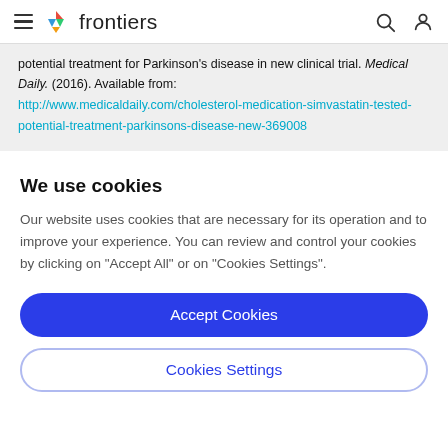frontiers
potential treatment for Parkinson's disease in new clinical trial. Medical Daily. (2016). Available from: http://www.medicaldaily.com/cholesterol-medication-simvastatin-tested-potential-treatment-parkinsons-disease-new-369008
We use cookies
Our website uses cookies that are necessary for its operation and to improve your experience. You can review and control your cookies by clicking on "Accept All" or on "Cookies Settings".
Accept Cookies
Cookies Settings